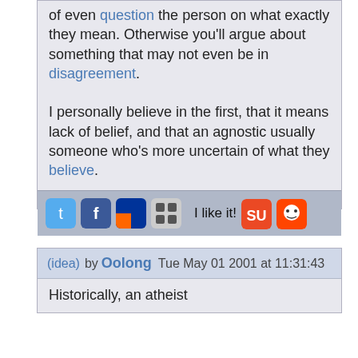or even question the person on what exactly they mean. Otherwise you'll argue about something that may not even be in disagreement. I personally believe in the first, that it means lack of belief, and that an agnostic usually someone who's more uncertain of what they believe.
[Figure (infographic): Social sharing bar with Twitter, Facebook, Delicious, MyBlogLog, StumbleUpon, Reddit icons and 'I like it!' text]
(idea) by Oolong Tue May 01 2001 at 11:31:43
Historically, an atheist